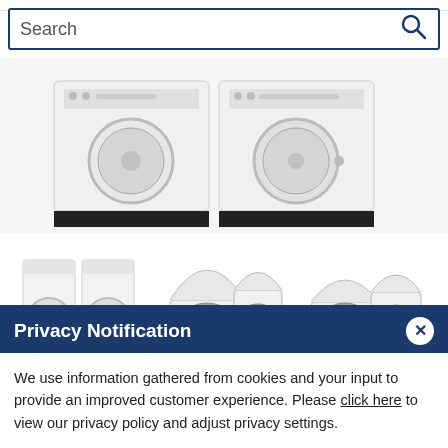[Figure (screenshot): Search bar with text 'Search' and blue magnifying glass icon on right]
[Figure (photo): White washing machine and dryer pair shown from front, on black pedestals]
[Figure (photo): Three thumbnail images of LG washer/dryer sets: front view pair, open-lid top-load view, and another open-lid top-load view]
Privacy Notification
We use information gathered from cookies and your input to provide an improved customer experience. Please click here to view our privacy policy and adjust privacy settings.